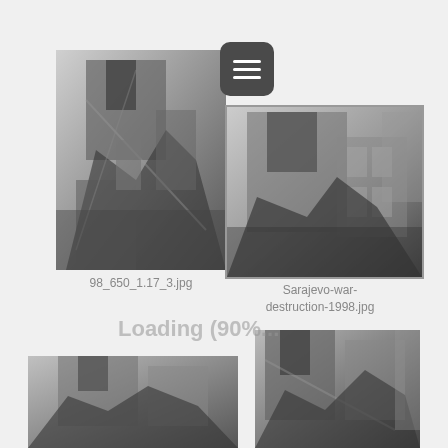[Figure (photo): Black and white photo of a destroyed/bombed building with debris and rubble, war destruction scene - 98_650_1.17_3.jpg]
[Figure (photo): Hamburger/menu button icon with three horizontal white lines on dark rounded square background]
[Figure (photo): Black and white photo of a war-damaged multi-story building with debris - Sarajevo-war-destruction-1998.jpg]
98_650_1.17_3.jpg
Sarajevo-war-destruction-1998.jpg
Loading (90%...
[Figure (photo): Black and white photo of destroyed building, lower left, partially visible]
[Figure (photo): Black and white photo of destroyed building with debris, lower right, partially visible]